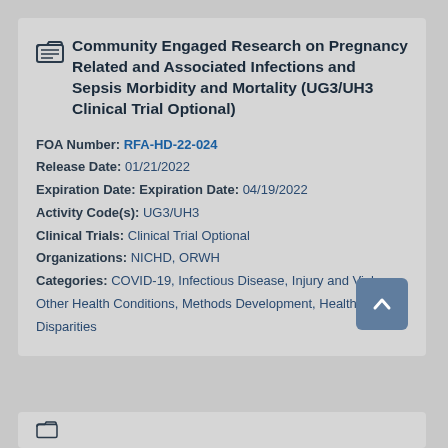Community Engaged Research on Pregnancy Related and Associated Infections and Sepsis Morbidity and Mortality (UG3/UH3 Clinical Trial Optional)
FOA Number: RFA-HD-22-024
Release Date: 01/21/2022
Expiration Date: Expiration Date: 04/19/2022
Activity Code(s): UG3/UH3
Clinical Trials: Clinical Trial Optional
Organizations: NICHD, ORWH
Categories: COVID-19, Infectious Disease, Injury and Violence, Other Health Conditions, Methods Development, Health Disparities